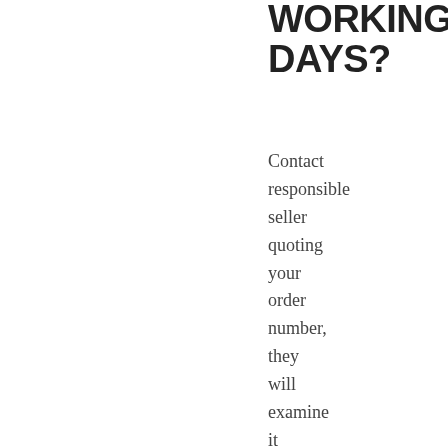WORKING DAYS?
Contact responsible seller quoting your order number, they will examine it and identify the problems with the order.